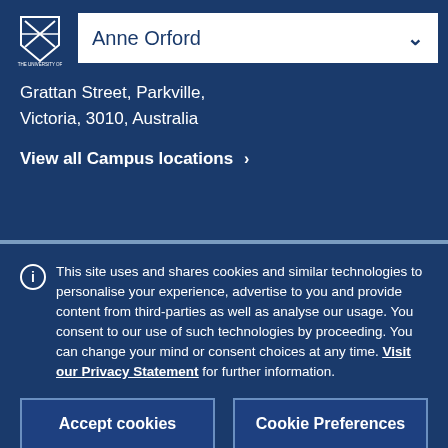[Figure (logo): University of Melbourne crest/shield logo in white on dark blue background]
Anne Orford
Grattan Street, Parkville, Victoria, 3010, Australia
View all Campus locations >
This site uses and shares cookies and similar technologies to personalise your experience, advertise to you and provide content from third-parties as well as analyse our usage. You consent to our use of such technologies by proceeding. You can change your mind or consent choices at any time. Visit our Privacy Statement for further information.
Accept cookies
Cookie Preferences